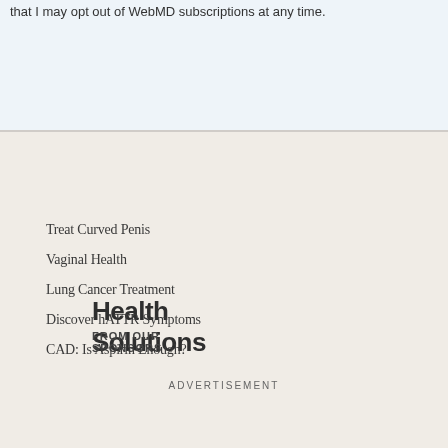that I may opt out of WebMD subscriptions at any time.
Health Solutions
FROM OUR SPONSORS
Treat Curved Penis
Vaginal Health
Lung Cancer Treatment
Discover hATTR Symptoms
CAD: Is Aspirin Enough?
ADVERTISEMENT